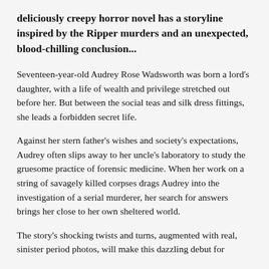deliciously creepy horror novel has a storyline inspired by the Ripper murders and an unexpected, blood-chilling conclusion...
Seventeen-year-old Audrey Rose Wadsworth was born a lord's daughter, with a life of wealth and privilege stretched out before her. But between the social teas and silk dress fittings, she leads a forbidden secret life.
Against her stern father's wishes and society's expectations, Audrey often slips away to her uncle's laboratory to study the gruesome practice of forensic medicine. When her work on a string of savagely killed corpses drags Audrey into the investigation of a serial murderer, her search for answers brings her close to her own sheltered world.
The story's shocking twists and turns, augmented with real, sinister period photos, will make this dazzling debut for...